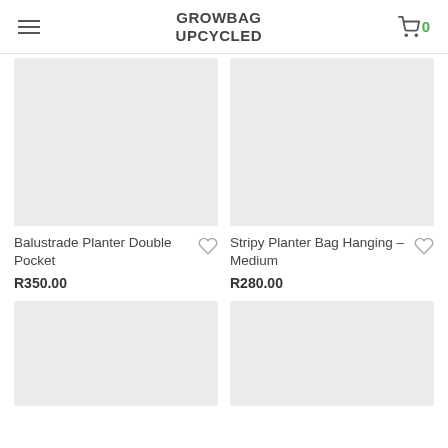GROWBAG UPCYCLED
[Figure (photo): Product image placeholder for Balustrade Planter Double Pocket — light grey rectangle]
Balustrade Planter Double Pocket
R350.00
[Figure (photo): Product image placeholder for Stripy Planter Bag Hanging – Medium — light grey rectangle]
Stripy Planter Bag Hanging – Medium
R280.00
[Figure (photo): Product image placeholder — light grey rectangle, bottom left]
[Figure (photo): Product image placeholder — light grey rectangle, bottom right]